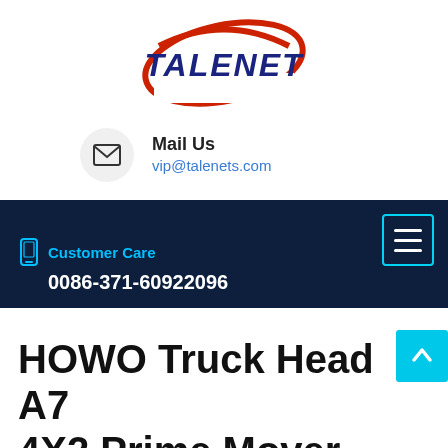[Figure (logo): Talenet logo: blue bold italic text TALENET with a red oval swoosh graphic above]
Mail Us
vip@talenets.com
[Figure (infographic): Dark navy navigation bar with hamburger menu icon in cyan border top-right, phone icon and Customer Care label in cyan, phone number 0086-371-60922096 in white bold]
HOWO Truck Head A7 4X2 Prime Mover